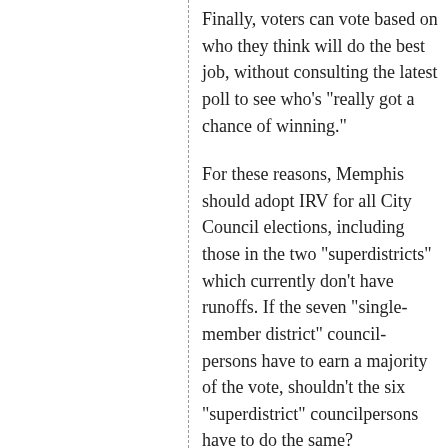Finally, voters can vote based on who they think will do the best job, without consulting the latest poll to see who's "really got a chance of winning."
For these reasons, Memphis should adopt IRV for all City Council elections, including those in the two "superdistricts" which currently don't have runoffs. If the seven "single-member district" council-persons have to earn a majority of the vote, shouldn't the six "superdistrict" councilpersons have to do the same?